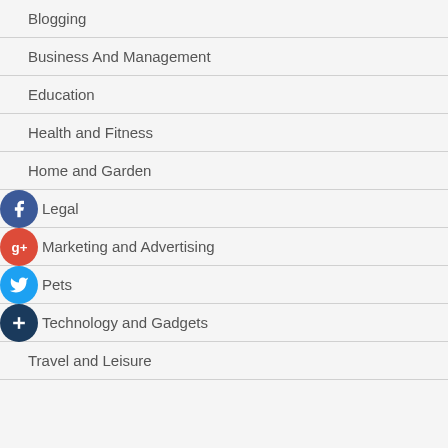Blogging
Business And Management
Education
Health and Fitness
Home and Garden
Legal
Marketing and Advertising
Pets
Technology and Gadgets
Travel and Leisure